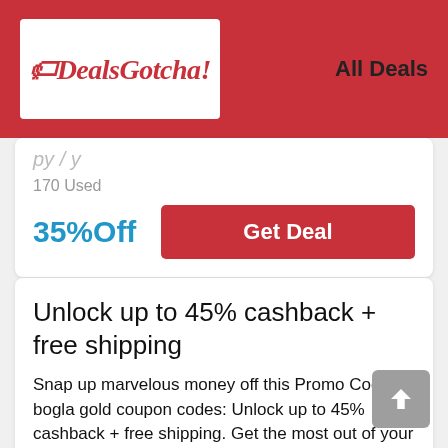DealsGotcha! All Deals
170 Used
35%Off
Get Deal
Unlock up to 45% cashback + free shipping
Snap up marvelous money off this Promo Code & bogla gold coupon codes: Unlock up to 45% cashback + free shipping. Get the most out of your shopping when you shop with it at